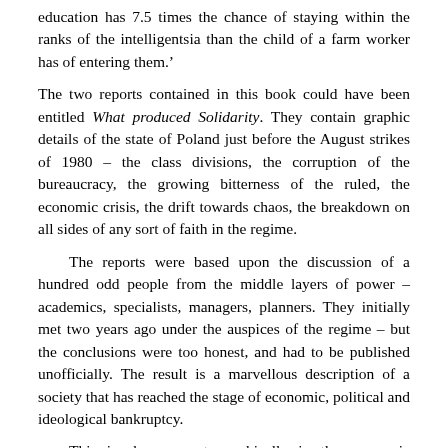education has 7.5 times the chance of staying within the ranks of the intelligentsia than the child of a farm worker has of entering them.'
The two reports contained in this book could have been entitled What produced Solidarity. They contain graphic details of the state of Poland just before the August strikes of 1980 – the class divisions, the corruption of the bureaucracy, the growing bitterness of the ruled, the economic crisis, the drift towards chaos, the breakdown on all sides of any sort of faith in the regime.
The reports were based upon the discussion of a hundred odd people from the middle layers of power – academics, specialists, managers, planners. They initially met two years ago under the auspices of the regime – but the conclusions were too honest, and had to be published unofficially. The result is a marvellous description of a society that has reached the stage of economic, political and ideological bankruptcy.
This is shown most graphically in the economic sphere. Year after year the rulers of Poland and other East European states boast about the beauties of their central planning. The claim is still accepted by much of the left in the West, who if they no